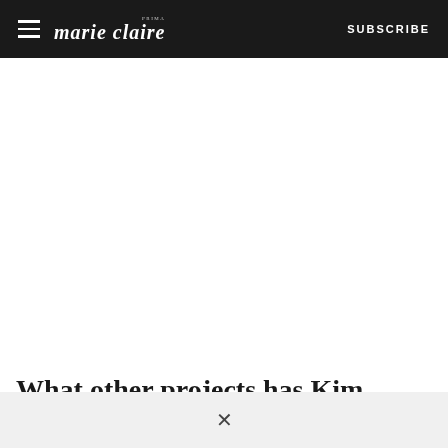marie claire SUBSCRIBE
[Figure (other): Large white blank image/content area below the navigation bar]
What other projects has Kim Cattrall
×